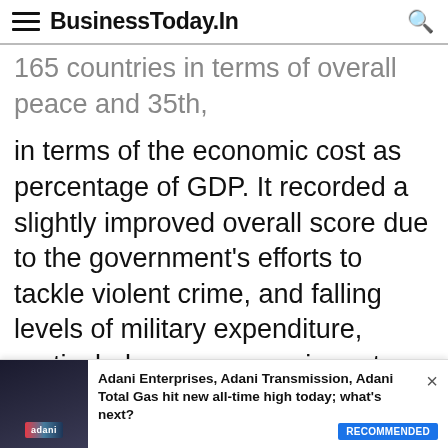BusinessToday.In
165 countries in terms of overall peace and 35th, in terms of the economic cost as percentage of GDP. It recorded a slightly improved overall score due to the government's efforts to tackle violent crime, and falling levels of military expenditure, particularly on weapons imports, resulting in a slight improvement in its Militarisation score.
However, IEP faulted the alleged concentration of power in the office of Prime Minister Narendra Modi for deterioration in India's score on political instability, and the country's scores on the political terror scale and internal conflicts
[Figure (screenshot): Advertisement banner: Adani Enterprises, Adani Transmission, Adani Total Gas hit new all-time high today; what's next? with RECOMMENDED badge]